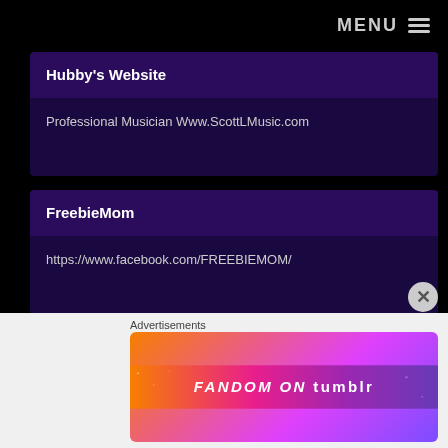MENU ≡
Hubby's Website
Professional Musician Www.ScottLMusic.com
FreebieMom
https://www.facebook.com/FREEBIEMOM/
A-listsites.com
http://www.alistsites.com/about.php
Advertisements
[Figure (illustration): Fandom on Tumblr advertisement banner with colorful gradient background]